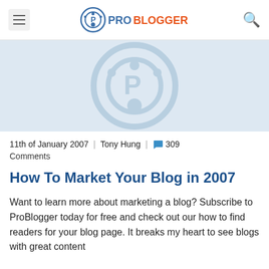ProBlogger
[Figure (logo): ProBlogger logo watermark on light blue background]
11th of January 2007  |  Tony Hung  |  309 Comments
How To Market Your Blog in 2007
Want to learn more about marketing a blog? Subscribe to ProBlogger today for free and check out our how to find readers for your blog page. It breaks my heart to see blogs with great content